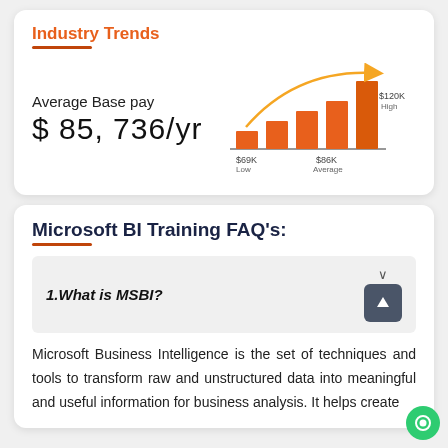Industry Trends
[Figure (bar-chart): Average Base pay]
Average Base pay
$ 85,736/yr
Microsoft BI Training FAQ's:
1.What is MSBI?
Microsoft Business Intelligence is the set of techniques and tools to transform raw and unstructured data into meaningful and useful information for business analysis. It helps create